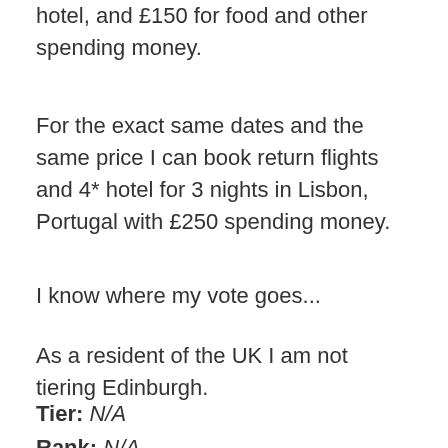hotel, and £150 for food and other spending money.
For the exact same dates and the same price I can book return flights and 4* hotel for 3 nights in Lisbon, Portugal with £250 spending money.
I know where my vote goes...
As a resident of the UK I am not tiering Edinburgh.
Tier: N/A
Rank: N/A